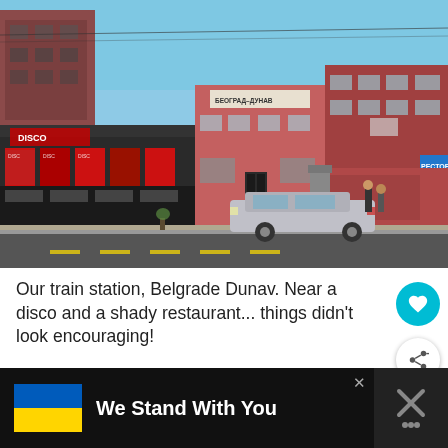[Figure (photo): Street-level photo of Belgrade Dunav train station area. Shows commercial storefronts including a disco club with red posters, a two-story pinkish-red building with Cyrillic sign reading BEOGRAD-DUNAV, and a restaurant sign partially visible on the right. A silver sedan is parked on the street. Blue sky visible above.]
Our train station, Belgrade Dunav. Near a disco and a shady restaurant... things didn't look encouraging!
[Figure (other): Advertisement banner: Ukraine flag (blue and yellow) on black background with text 'We Stand With You' and a close button. Right side shows a dark icon with crossed tools and thermometer symbol.]